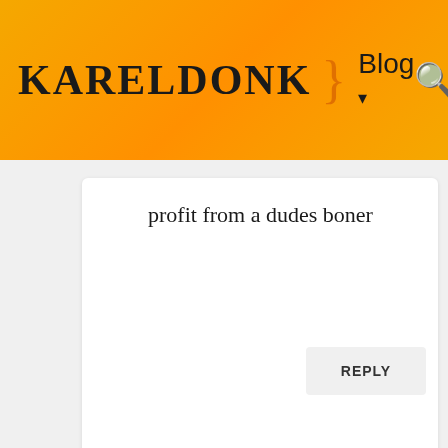KARELDONK } Blog ▾
profit from a dudes boner
REPLY
Daniel
MAY 14TH, 2016 AT 10:32 PM
I kind of agree about moving on if a woman does not display immediate and obvious indications that she is sexually interested. I have seen all the S**T pickup artists and gurus